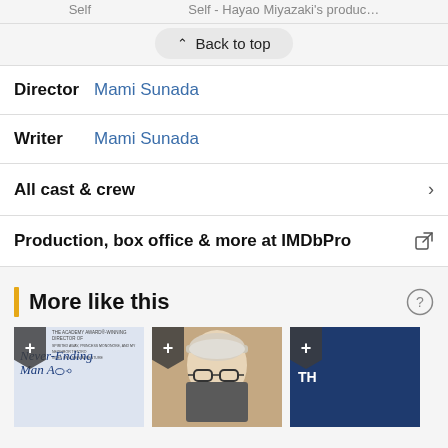Self    Self - Hayao Miyazaki's produc...
^ Back to top
Director  Mami Sunada
Writer  Mami Sunada
All cast & crew >
Production, box office & more at IMDbPro
More like this
[Figure (screenshot): Three movie poster thumbnails in a horizontal row under 'More like this' section. First shows a Never-Ending Man animated style poster, second shows an elderly man with glasses (Hayao Miyazaki), third shows a dark blue partial poster.]